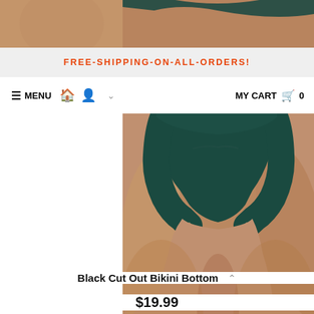[Figure (photo): Cropped top portion of a model wearing a bikini, skin-tone torso visible at top]
FREE-SHIPPING-ON-ALL-ORDERS!
≡ MENU  🏠  👤  ∨   MY CART 🛒 0
[Figure (photo): Close-up photo of model wearing dark teal/black cut-out bikini bottom]
Black Cut Out Bikini Bottom
$19.99